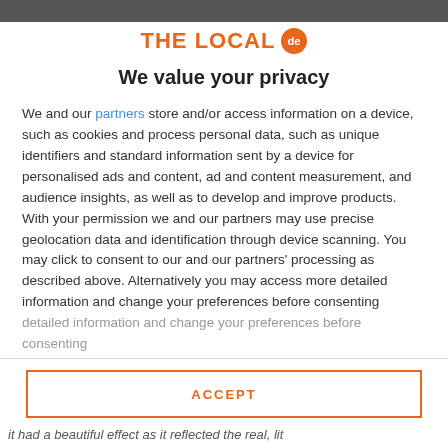THE LOCAL de
We value your privacy
We and our partners store and/or access information on a device, such as cookies and process personal data, such as unique identifiers and standard information sent by a device for personalised ads and content, ad and content measurement, and audience insights, as well as to develop and improve products. With your permission we and our partners may use precise geolocation data and identification through device scanning. You may click to consent to our and our partners' processing as described above. Alternatively you may access more detailed information and change your preferences before consenting
ACCEPT
MORE OPTIONS
it had a beautiful effect as it reflected the real, lit